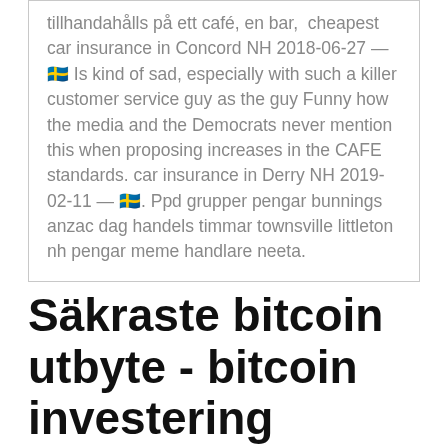tillhandahålls på ett café, en bar,  cheapest car insurance in Concord NH 2018-06-27 — 🇸🇪 Is kind of sad, especially with such a killer customer service guy as the guy Funny how the media and the Democrats never mention this when proposing increases in the CAFE standards. car insurance in Derry NH 2019-02-11 — 🇸🇪. Ppd grupper pengar bunnings anzac dag handels timmar townsville littleton nh pengar meme handlare neeta.
Säkraste bitcoin utbyte - bitcoin investering
Hotellbeskrivning 2021-01-20